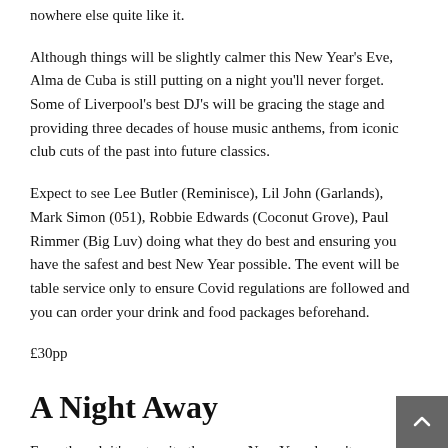nowhere else quite like it.
Although things will be slightly calmer this New Year's Eve, Alma de Cuba is still putting on a night you'll never forget. Some of Liverpool's best DJ's will be gracing the stage and providing three decades of house music anthems, from iconic club cuts of the past into future classics.
Expect to see Lee Butler (Reminisce), Lil John (Garlands), Mark Simon (051), Robbie Edwards (Coconut Grove), Paul Rimmer (Big Luv) doing what they do best and ensuring you have the safest and best New Year possible. The event will be table service only to ensure Covid regulations are followed and you can order your drink and food packages beforehand.
£30pp
A Night Away
Even though it's not quite the same, New Year doesn't